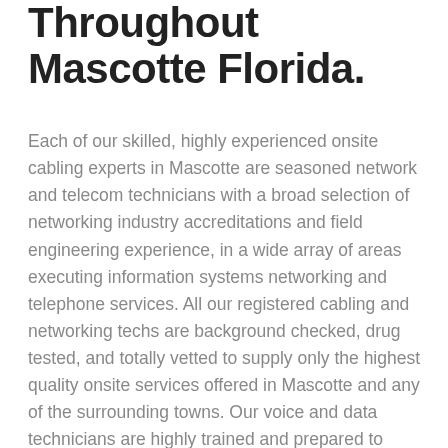Throughout Mascotte Florida.
Each of our skilled, highly experienced onsite cabling experts in Mascotte are seasoned network and telecom technicians with a broad selection of networking industry accreditations and field engineering experience, in a wide array of areas executing information systems networking and telephone services. All our registered cabling and networking techs are background checked, drug tested, and totally vetted to supply only the highest quality onsite services offered in Mascotte and any of the surrounding towns. Our voice and data technicians are highly trained and prepared to handle any type of network job that you may need from straightforward data and telephone jack repairs to informative network surveys and supplying specialized structured cabling solutions for thousands of voice and data network drops in existing or brand-new construction environments. We supply top quality onsite repair services